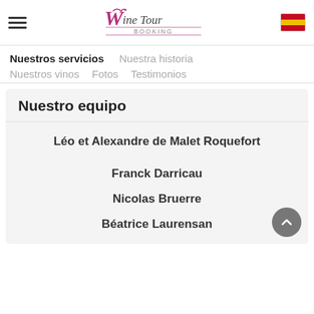[Figure (logo): Wine Tour Booking logo with stylized W and vine icon in purple]
[Figure (illustration): Spanish flag emoji/icon in top right corner]
Nuestros servicios
Nuestra historia
Nuestros vinos
Fotos
Testimonios
Nuestro equipo
Léo et Alexandre de Malet Roquefort
Franck Darricau
Nicolas Bruerre
Béatrice Laurensan